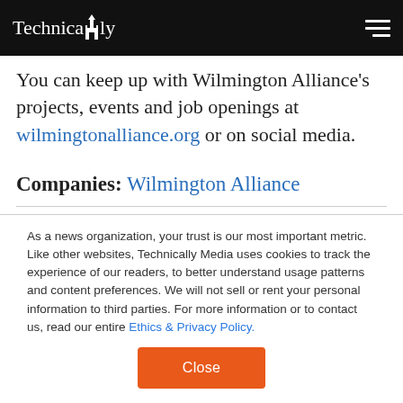Technically
You can keep up with Wilmington Alliance's projects, events and job openings at wilmingtonalliance.org or on social media.
Companies: Wilmington Alliance
As a news organization, your trust is our most important metric. Like other websites, Technically Media uses cookies to track the experience of our readers, to better understand usage patterns and content preferences. We will not sell or rent your personal information to third parties. For more information or to contact us, read our entire Ethics & Privacy Policy.
Close